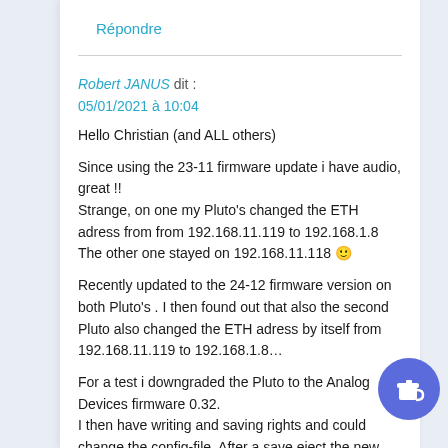Répondre
Robert JANUS dit :
05/01/2021 à 10:04
Hello Christian (and ALL others)
Since using the 23-11 firmware update i have audio, great !!
Strange, on one my Pluto's changed the ETH adress from from 192.168.11.119 to 192.168.1.8
The other one stayed on 192.168.11.118 🙂
Recently updated to the 24-12 firmware version on both Pluto's . I then found out that also the second Pluto also changed the ETH adress by itself from 192.168.11.119 to 192.168.1.8…
For a test i downgraded the Pluto to the Analog Devices firmware 0.32.
I then have writing and saving rights and could change the config-file. After a save eject the new